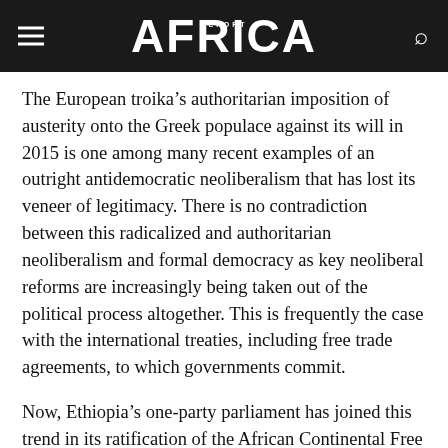AFRICA
The European troika’s authoritarian imposition of austerity onto the Greek populace against its will in 2015 is one among many recent examples of an outright antidemocratic neoliberalism that has lost its veneer of legitimacy. There is no contradiction between this radicalized and authoritarian neoliberalism and formal democracy as key neoliberal reforms are increasingly being taken out of the political process altogether. This is frequently the case with the international treaties, including free trade agreements, to which governments commit.
Now, Ethiopia’s one-party parliament has joined this trend in its ratification of the African Continental Free Trade Area (AfCFTA) in April of this year. It is telling...